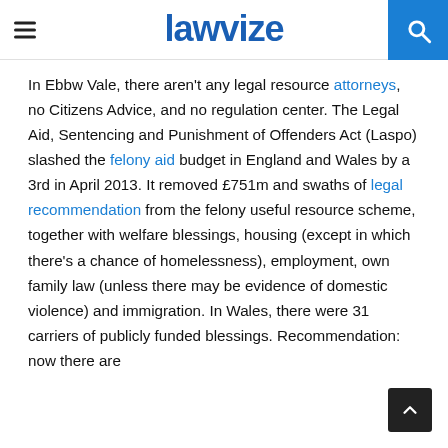lawvize
In Ebbw Vale, there aren't any legal resource attorneys, no Citizens Advice, and no regulation center. The Legal Aid, Sentencing and Punishment of Offenders Act (Laspo) slashed the felony aid budget in England and Wales by a 3rd in April 2013. It removed £751m and swaths of legal recommendation from the felony useful resource scheme, together with welfare blessings, housing (except in which there's a chance of homelessness), employment, own family law (unless there may be evidence of domestic violence) and immigration. In Wales, there were 31 carriers of publicly funded blessings. Recommendation: now there are